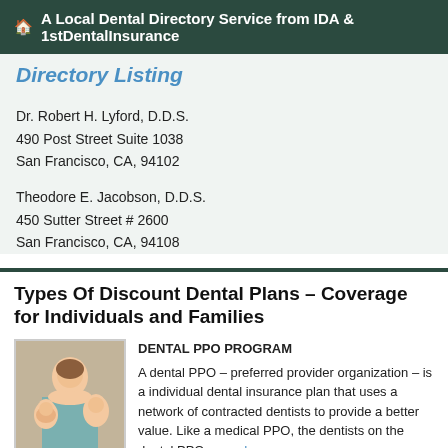🏠 A Local Dental Directory Service from IDA & 1stDentalInsurance
Directory Listing
Dr. Robert H. Lyford, D.D.S.
490 Post Street Suite 1038
San Francisco, CA, 94102
Theodore E. Jacobson, D.D.S.
450 Sutter Street # 2600
San Francisco, CA, 94108
Types Of Discount Dental Plans - Coverage for Individuals and Families
[Figure (photo): Photo of a smiling Asian family with mother, father, and baby]
DENTAL PPO PROGRAM
A dental PPO – preferred provider organization – is a individual dental insurance plan that uses a network of contracted dentists to provide a better value. Like a medical PPO, the dentists on the dental PPO... read more
Managed Dental Plans